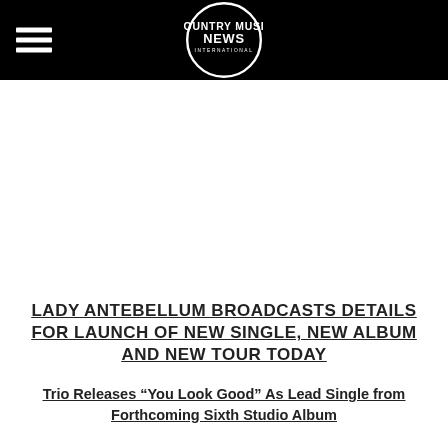COUNTRY MUSIC NEWS INTERNATIONAL
LADY ANTEBELLUM BROADCASTS DETAILS FOR LAUNCH OF NEW SINGLE, NEW ALBUM AND NEW TOUR TODAY
Trio Releases “You Look Good” As Lead Single from Forthcoming Sixth Studio Album